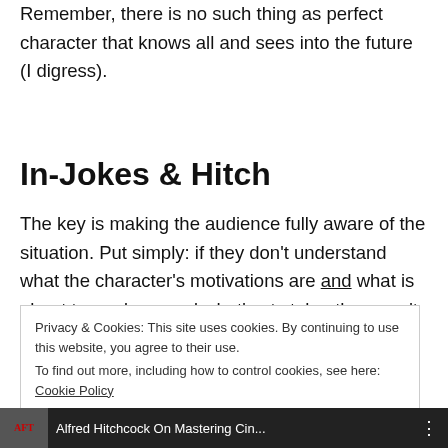Remember, there is no such thing as perfect character that knows all and sees into the future (I digress).
In-Jokes & Hitch
The key is making the audience fully aware of the situation. Put simply: if they don't understand what the character's motivations are and what is about to go down and what's at stake, they won't care. They need to know that the 'inevitable' is.
Privacy & Cookies: This site uses cookies. By continuing to use this website, you agree to their use.
To find out more, including how to control cookies, see here: Cookie Policy
Close and accept
[Figure (screenshot): Alfred Hitchcock On Mastering Cin... video thumbnail bar with AFI logo]